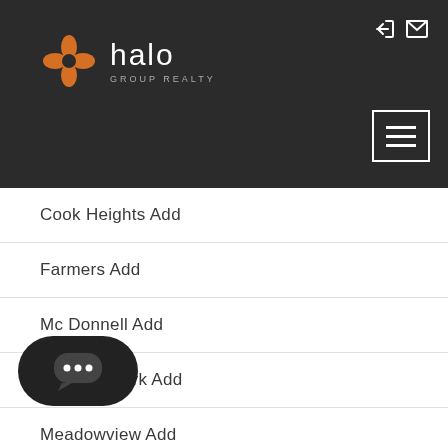halo GROUP REALTY
Cook Heights Add
Farmers Add
Mc Donnell Add
Meadow Park Add
Meadowview Add
Normandale Add
Rowland Jud Surv
Spanish Oaks Sub